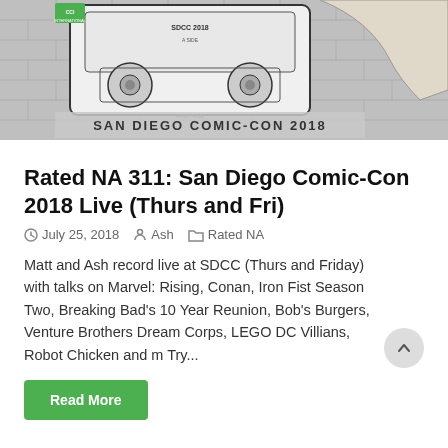[Figure (illustration): Black and white illustration of a cassette tape labeled SDCC 2018 with San Diego Comic-Con 2018 text, held by a hand, against a brick wall background.]
Rated NA 311: San Diego Comic-Con 2018 Live (Thurs and Fri)
July 25, 2018   Ash   Rated NA
Matt and Ash record live at SDCC (Thurs and Friday) with talks on Marvel: Rising, Conan, Iron Fist Season Two, Breaking Bad's 10 Year Reunion, Bob's Burgers, Venture Brothers Dream Corps, LEGO DC Villians, Robot Chicken and m Try...
Read More